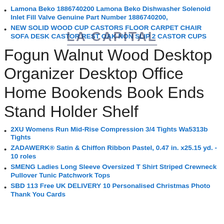Lamona Beko 1886740200 Lamona Beko Dishwasher Solenoid Inlet Fill Valve Genuine Part Number 1886740200,
NEW SOLID WOOD CUP CASTORS FLOOR CARPET CHAIR SOFA DESK CASTOR REST OAK NON SLIP 2 CASTOR CUPS
Fogun Walnut Wood Desktop Organizer Desktop Office Home Bookends Book Ends Stand Holder Shelf
2XU Womens Run Mid-Rise Compression 3/4 Tights Wa5313b Tights
ZADAWERK® Satin & Chiffon Ribbon Pastel, 0.47 in. x25.15 yd. - 10 roles
SMENG Ladies Long Sleeve Oversized T Shirt Striped Crewneck Pullover Tunic Patchwork Tops
SBD 113 Free UK DELIVERY 10 Personalised Christmas Photo Thank You Cards